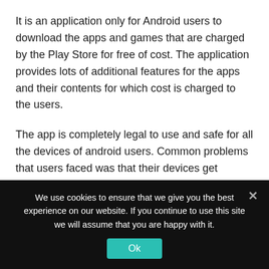It is an application only for Android users to download the apps and games that are charged by the Play Store for free of cost. The application provides lots of additional features for the apps and their contents for which cost is charged to the users.
The app is completely legal to use and safe for all the devices of android users. Common problems that users faced was that their devices get hanged after downloading certain apps because of which they do not prefer using this app, however safe and secure it may be.
We use cookies to ensure that we give you the best experience on our website. If you continue to use this site we will assume that you are happy with it.